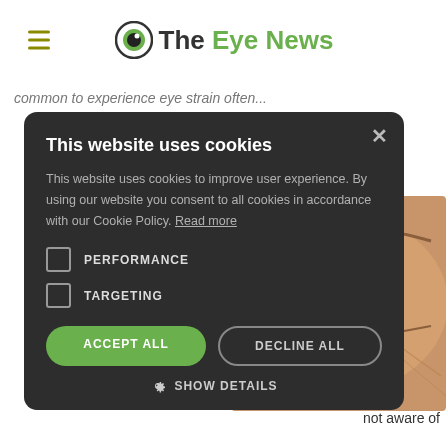The Eye News
common to experience eye strain often...
[Figure (screenshot): Cookie consent modal dialog on The Eye News website with dark background, showing title 'This website uses cookies', body text about cookie policy, two unchecked checkboxes for PERFORMANCE and TARGETING, an ACCEPT ALL green button, a DECLINE ALL outlined button, and a SHOW DETAILS link with gear icon. Behind the modal on the right is a close-up photo of a human eye.]
This website uses cookies
This website uses cookies to improve user experience. By using our website you consent to all cookies in accordance with our Cookie Policy. Read more
PERFORMANCE
TARGETING
ACCEPT ALL
DECLINE ALL
SHOW DETAILS
not aware of